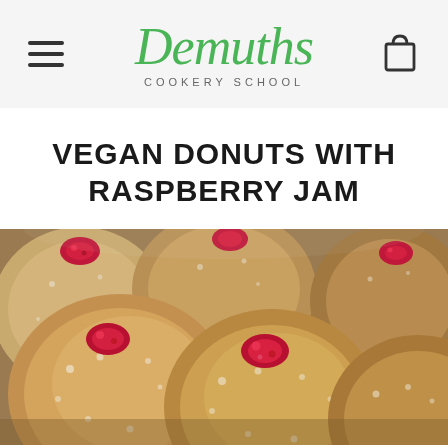Demuths COOKERY SCHOOL
VEGAN DONUTS WITH RASPBERRY JAM
[Figure (photo): Close-up photograph of sugar-dusted vegan donuts filled with bright red raspberry jam, piled together on a surface.]